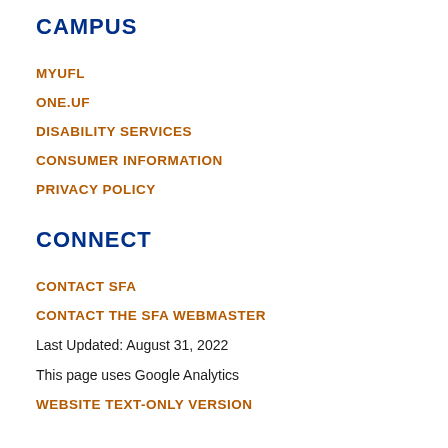CAMPUS
MYUFL
ONE.UF
DISABILITY SERVICES
CONSUMER INFORMATION
PRIVACY POLICY
CONNECT
CONTACT SFA
CONTACT THE SFA WEBMASTER
Last Updated: August 31, 2022
This page uses Google Analytics
WEBSITE TEXT-ONLY VERSION